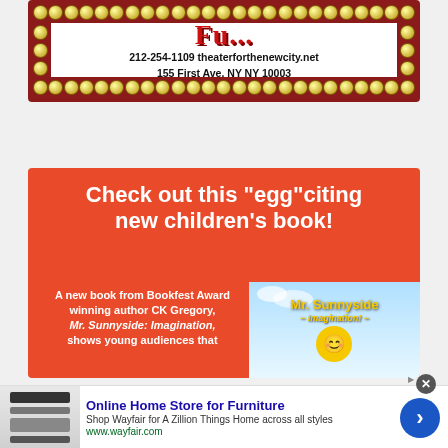[Figure (illustration): Theater marquee advertisement showing partial logo text in red, gold marquee light bulb border, white inner panel with phone number '212-254-1109 theaterforthenewcity.net' and address '155 First Ave. NY NY 10003']
[Figure (illustration): Red advertisement banner for children's book. Headline: 'Check out this "egg"citing new children's book!' Below left: 'A new book from Bookfest Award winning author CK Gregory, Mr. Sunnyside: Imagination, shows young audiences that'. Right side: book cover image with 'Mr. Sunnyside - Imagination! -' title and cartoon character.]
[Figure (illustration): Browser display ad for Wayfair furniture: 'Online Home Store for Furniture', 'Shop Wayfair for A Zillion Things Home across all styles', 'www.wayfair.com'. Has close button (x) and navigation arrow.]